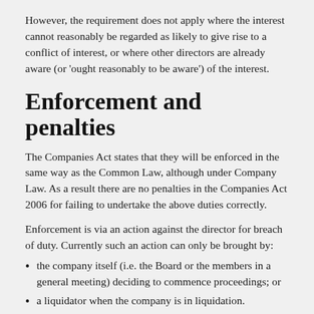However, the requirement does not apply where the interest cannot reasonably be regarded as likely to give rise to a conflict of interest, or where other directors are already aware (or 'ought reasonably to be aware') of the interest.
Enforcement and penalties
The Companies Act states that they will be enforced in the same way as the Common Law, although under Company Law. As a result there are no penalties in the Companies Act 2006 for failing to undertake the above duties correctly.
Enforcement is via an action against the director for breach of duty. Currently such an action can only be brought by:
the company itself (i.e. the Board or the members in a general meeting) deciding to commence proceedings; or
a liquidator when the company is in liquidation.
an individual shareholder can take action against a director for breach of duty. This is known as a derivative action.